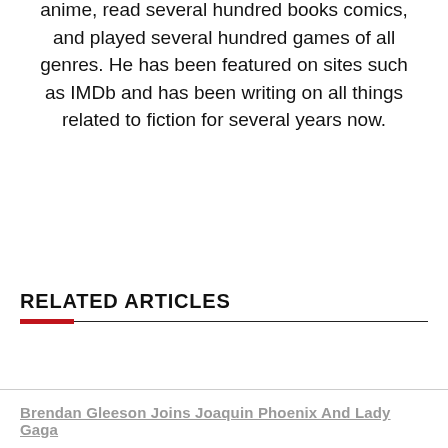Since then, he has seen several thousand movies and anime, read several hundred books comics, and played several hundred games of all genres. He has been featured on sites such as IMDb and has been writing on all things related to fiction for several years now.
RELATED ARTICLES
Brendan Gleeson Joins Joaquin Phoenix And Lady Gaga